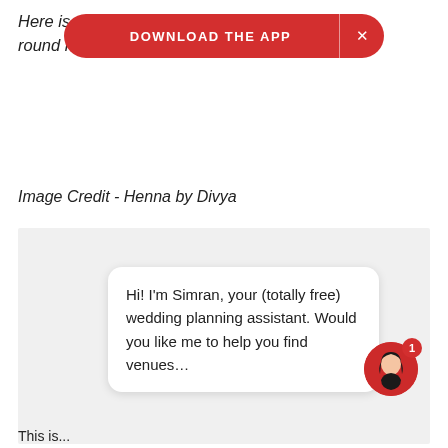Here is th...lightful round mehndi designs for hands, feet and legs!
[Figure (screenshot): Red 'DOWNLOAD THE APP' banner with close button overlaying top text]
Image Credit - Henna by Divya
[Figure (screenshot): Gray box area with a chat popup from Simran: Hi! I'm Simran, your (totally free) wedding planning assistant. Would you like me to help you find venues... and a red avatar icon with badge 1]
This is...